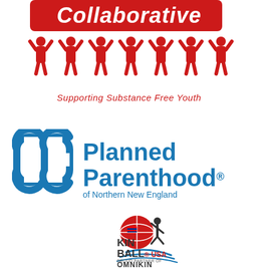[Figure (logo): Collaborative - Supporting Substance Free Youth logo with red figures holding up text and red stylized text at top]
[Figure (logo): Planned Parenthood of Northern New England logo with blue PP icon and blue text]
[Figure (logo): Kin Ball USA Proud Partner of Omnikin logo with ball and figure graphic]